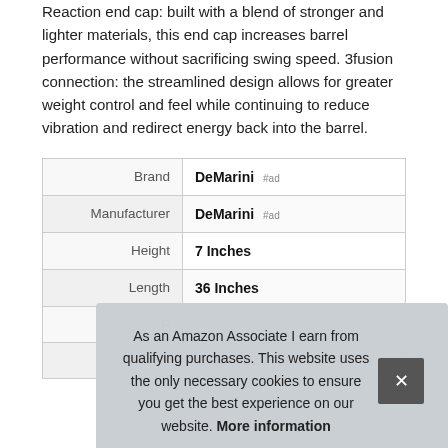Reaction end cap: built with a blend of stronger and lighter materials, this end cap increases barrel performance without sacrificing swing speed. 3fusion connection: the streamlined design allows for greater weight control and feel while continuing to reduce vibration and redirect energy back into the barrel.
|  |  |
| --- | --- |
| Brand | DeMarini #ad |
| Manufacturer | DeMarini #ad |
| Height | 7 Inches |
| Length | 36 Inches |
| P... | ... |
| Model | WTDXCBZ 2030-22 |
As an Amazon Associate I earn from qualifying purchases. This website uses the only necessary cookies to ensure you get the best experience on our website. More information